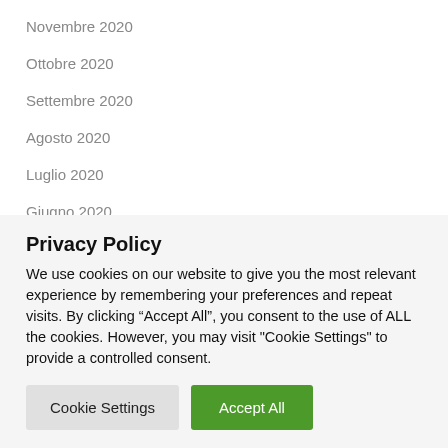Novembre 2020
Ottobre 2020
Settembre 2020
Agosto 2020
Luglio 2020
Giugno 2020
Maggio 2020
Marzo 2020
Febbraio 2020
Gennaio 2020
Privacy Policy
We use cookies on our website to give you the most relevant experience by remembering your preferences and repeat visits. By clicking “Accept All”, you consent to the use of ALL the cookies. However, you may visit "Cookie Settings" to provide a controlled consent.